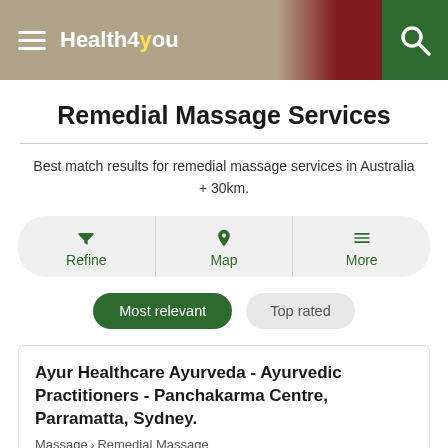Health4You
Remedial Massage Services
Best match results for remedial massage services in Australia + 30km.
Refine | Map | More
Most relevant | Top rated
Ayur Healthcare Ayurveda - Ayurvedic Practitioners - Panchakarma Centre, Parramatta, Sydney.
Massage > Remedial Massage